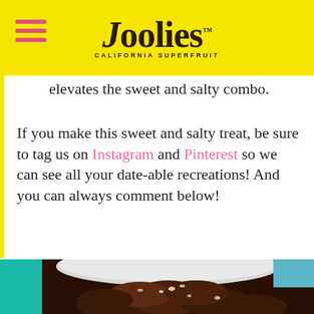Joolies CALIFORNIA SUPERFRUIT
elevates the sweet and salty combo.
If you make this sweet and salty treat, be sure to tag us on Instagram and Pinterest so we can see all your date-able recreations! And you can always comment below!
[Figure (photo): Close-up photo of chocolate-covered dates with sea salt flakes in a white bowl, with teal/turquoise background elements]